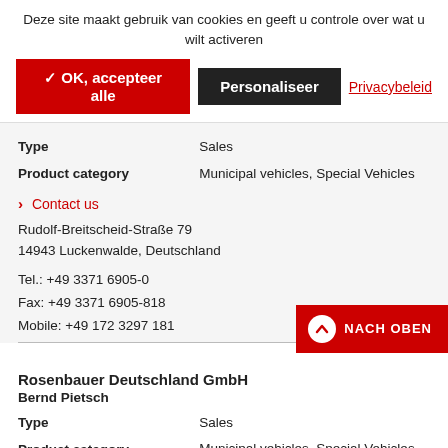Deze site maakt gebruik van cookies en geeft u controle over wat u wilt activeren
✓ OK, accepteer alle   Personaliseer   Privacybeleid
| Type | Sales |
| --- | --- |
| Product category | Municipal vehicles, Special Vehicles |
> Contact us
Rudolf-Breitscheid-Straße 79
14943 Luckenwalde, Deutschland
Tel.: +49 3371 6905-0
Fax: +49 3371 6905-818
Mobile: +49 172 3297 181
NACH OBEN
Rosenbauer Deutschland GmbH
Bernd Pietsch
| Type | Sales |
| --- | --- |
| Product category | Municipal vehicles, Special Vehicles |